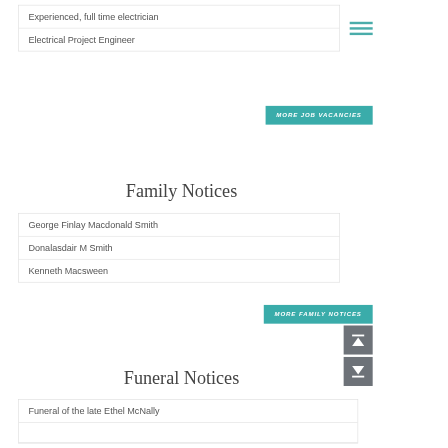Experienced, full time electrician
Electrical Project Engineer
[Figure (other): Hamburger menu icon (three teal horizontal lines)]
MORE JOB VACANCIES
Family Notices
George Finlay Macdonald Smith
Donalasdair M Smith
Kenneth Macsween
MORE FAMILY NOTICES
[Figure (other): Navigation up arrow button (dark grey box with white up arrow and bar)]
[Figure (other): Navigation down arrow button (dark grey box with white down arrow and bar)]
Funeral Notices
Funeral of the late Ethel McNally